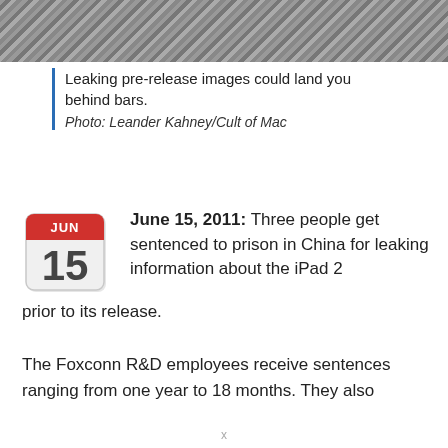[Figure (photo): Close-up photo of dark diagonal striped surface, likely metal bars or grating]
Leaking pre-release images could land you behind bars.
Photo: Leander Kahney/Cult of Mac
June 15, 2011: Three people get sentenced to prison in China for leaking information about the iPad 2 prior to its release.
The Foxconn R&D employees receive sentences ranging from one year to 18 months. They also